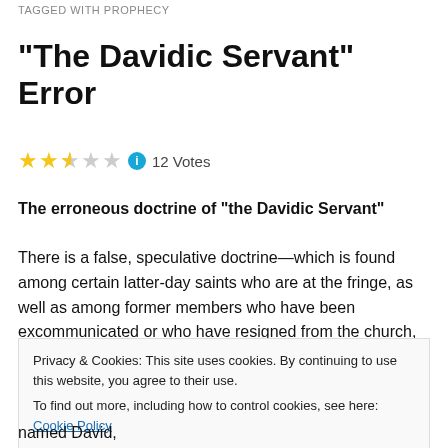TAGGED WITH PROPHECY
“The Davidic Servant” Error
★★★☆☆  12 Votes
The erroneous doctrine of “the Davidic Servant”
There is a false, speculative doctrine—which is found among certain latter-day saints who are at the fringe, as well as among former members who have been excommunicated or who have resigned from the church, and also among the many break-away sects—which I call
Privacy & Cookies: This site uses cookies. By continuing to use this website, you agree to their use.
To find out more, including how to control cookies, see here: Cookie Policy
named David,